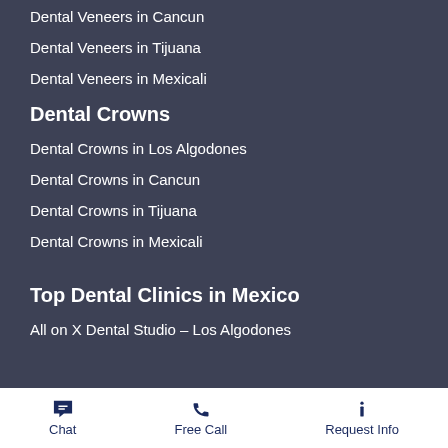Dental Veneers in Cancun
Dental Veneers in Tijuana
Dental Veneers in Mexicali
Dental Crowns
Dental Crowns in Los Algodones
Dental Crowns in Cancun
Dental Crowns in Tijuana
Dental Crowns in Mexicali
Top Dental Clinics in Mexico
All on X Dental Studio – Los Algodones
Chat | Free Call | Request Info